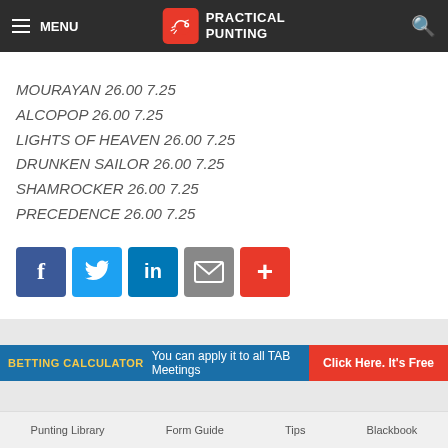MENU | PRACTICAL PUNTING
MOURAYAN 26.00 7.25
ALCOPOP 26.00 7.25
LIGHTS OF HEAVEN 26.00 7.25
DRUNKEN SAILOR 26.00 7.25
SHAMROCKER 26.00 7.25
PRECEDENCE 26.00 7.25
[Figure (infographic): Social share buttons: Facebook, Twitter, LinkedIn, Email, More (+)]
BETTING CALCULATOR You can apply it to all TAB Meetings Click Here. It's Free
Punting Library  Form Guide  Tips  Blackbook